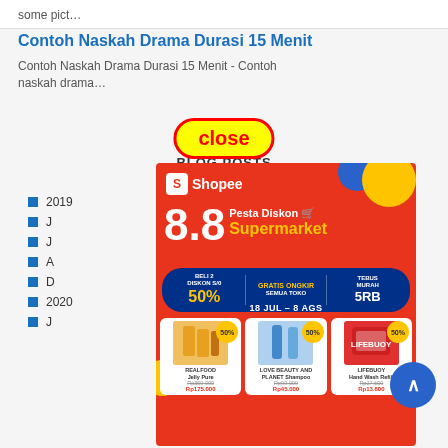some pict…
Contoh Naskah Drama Durasi 15 Menit
Contoh Naskah Drama Durasi 15 Menit - Contoh naskah drama…
[Figure (infographic): Close button overlay (yellow pill with red border, text 'close' in red bold)]
BLOG POSTS
2019
J
J
A
D
2020
J
[Figure (infographic): Shopee 8.8 Pesta Diskon Supermarket advertisement banner. Red background. Shopee logo top-left. Large '8.8 Pesta Diskon Supermarket' text. Promo bar: BELI 2 DISKON S/D 50%, GRATIS ONGKIR SEMUA TOKO, TEBUS MURAH 5RB. Date: 18 JUL - 8 AGS. Three product cards: REALFOOD Jelly Pure Rp350.000 / Rp175.000 (50%), LOVE BEAUTY AND PLANET Shampoo Rp90.000 / Rp45.000 (50%), LIFEBUOY Hand Wash Refill Rp27.600 / Rp13.800 (50%).]